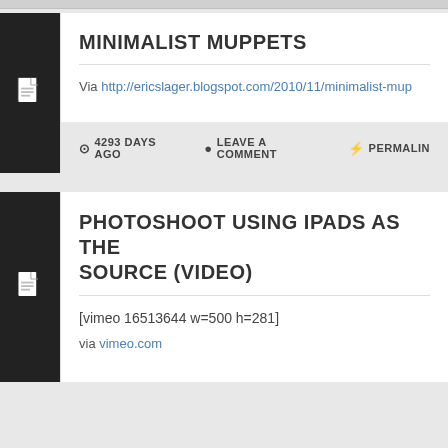MINIMALIST MUPPETS
Via http://ericslager.blogspot.com/2010/11/minimalist-mup
⊙ 4293 DAYS AGO  ● LEAVE A COMMENT  ⚡ PERMALINK
PHOTOSHOOT USING IPADS AS THE SOURCE (VIDEO)
[vimeo 16513644 w=500 h=281]
via vimeo.com